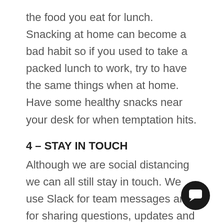the food you eat for lunch. Snacking at home can become a bad habit so if you used to take a packed lunch to work, try to have the same things when at home. Have some healthy snacks near your desk for when temptation hits.
4 – STAY IN TOUCH
Although we are social distancing we can all still stay in touch. We use Slack for team messages and for sharing questions, updates and general chat. We also have a Google Hangouts call with everyone on a Wednesday morning so we can run through our week so far and discuss things as a group call.